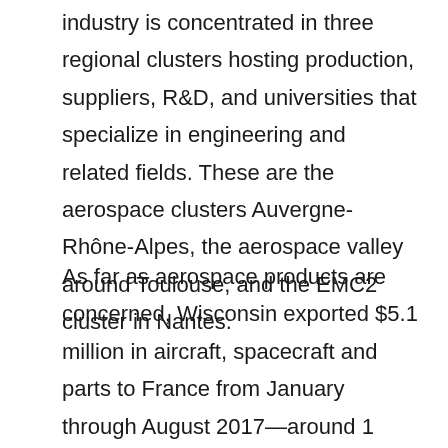industry is concentrated in three regional clusters hosting production, suppliers, R&D, and universities that specialize in engineering and related fields. These are the aerospace clusters Auvergne-Rhône-Alpes, the aerospace valley around Toulouse, and the EMC2 cluster in Nantes.
As far as aerospace products are concerned, Wisconsin exported $5.1 million in aircraft, spacecraft and parts to France from January through August 2017—around 1 percent of all U.S. exports in this category. The ultimate total for the entire